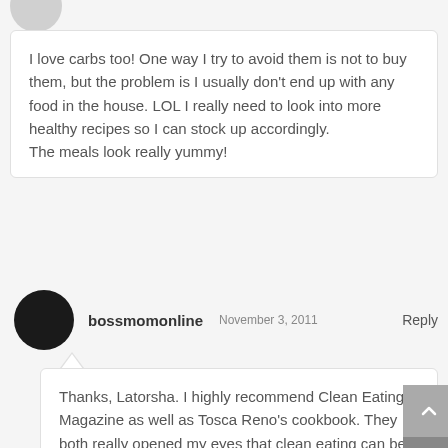I love carbs too! One way I try to avoid them is not to buy them, but the problem is I usually don't end up with any food in the house. LOL I really need to look into more healthy recipes so I can stock up accordingly.
The meals look really yummy!
bossmomonline   November 3, 2011   Reply
Thanks, Latorsha. I highly recommend Clean Eating Magazine as well as Tosca Reno's cookbook. They both really opened my eyes that clean eating can be healthy and taste good. Wh a concept!